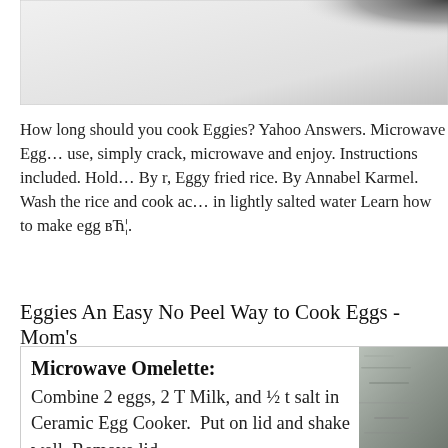[Figure (photo): Top portion of a photo, mostly light gray/white gradient with a dark shadow in the upper right corner]
How long should you cook Eggies? Yahoo Answers. Microwave Egg… use, simply crack, microwave and enjoy. Instructions included. Hold… By r, Eggy fried rice. By Annabel Karmel. Wash the rice and cook ac… in lightly salted water Learn how to make egg вЋ¦.
Eggies An Easy No Peel Way to Cook Eggs - Mom's
[Figure (photo): Card with microwave omelette recipe text and a gray stone/ceramic image on the right]
Microwave Omelette: Combine 2 eggs, 2 T Milk, and ½ t salt in Ceramic Egg Cooker.  Put on lid and shake well. Remove lid,